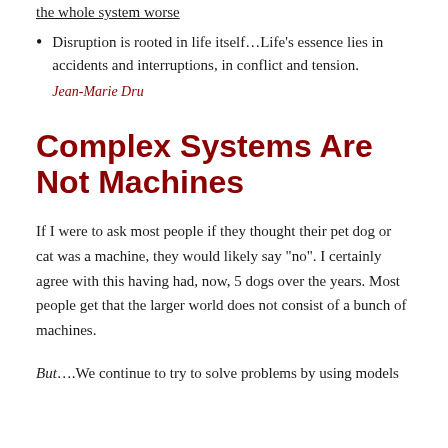the whole system worse
Disruption is rooted in life itself...Life's essence lies in accidents and interruptions, in conflict and tension.
Jean-Marie Dru
Complex Systems Are Not Machines
If I were to ask most people if they thought their pet dog or cat was a machine, they would likely say “no”.  I certainly agree with this having had, now, 5 dogs over the years. Most people get that the larger world does not consist of a bunch of machines.
But....We continue to try to solve problems by using models